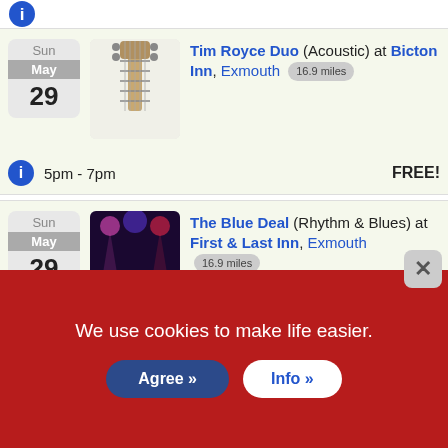[Figure (screenshot): Blue info icon at top left]
Tim Royce Duo (Acoustic) at Bicton Inn, Exmouth 16.9 miles | Sun May 29 | 5pm - 7pm | FREE!
The Blue Deal (Rhythm & Blues) at First & Last Inn, Exmouth 16.9 miles | Sun May 29 | 6.30pm - 9pm | FREE!
Reckless (Covers 70s - present | Sun May 29 | partial
We use cookies to make life easier.